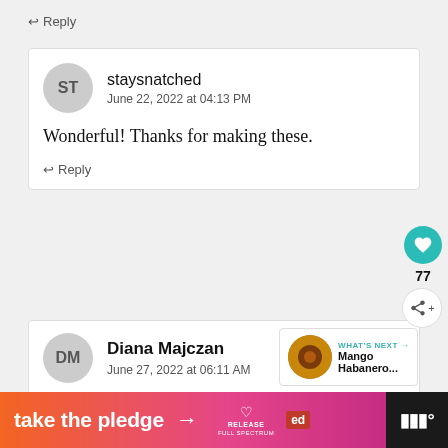↩ Reply
staysnatched
June 22, 2022 at 04:13 PM
Wonderful! Thanks for making these.
↩ Reply
Diana Majczan
June 27, 2022 at 06:11 AM
[Figure (infographic): Orange to pink gradient ad banner reading 'take the pledge →' with RELEASE and ED logos on the right, on a black background]
WHAT'S NEXT → Mango Habanero...